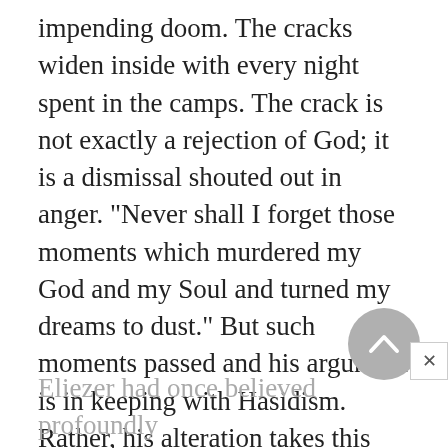impending doom. The cracks widen inside with every night spent in the camps. The crack is not exactly a rejection of God; it is a dismissal shouted out in anger. "Never shall I forget those moments which murdered my God and my Soul and turned my dreams to dust." But such moments passed and his argument is in keeping with Hasidism. Rather, his alteration takes this form, "I no longer accepted God's silence."
Eliezer had once believed profoundly